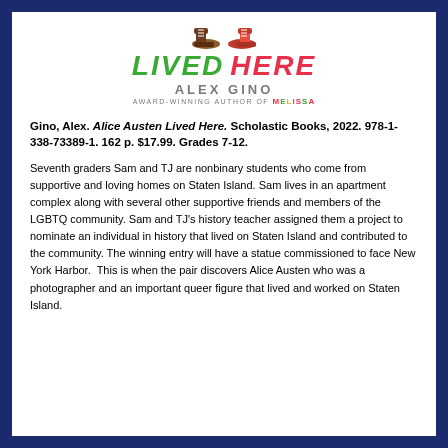[Figure (illustration): Book cover illustration showing two pairs of shoes/skates at top, stylized title 'LIVED HERE' in green and red italic lettering, author name 'ALEX GINO' in gray uppercase letters, subtitle 'AWARD-WINNING AUTHOR OF MELISSA']
Gino, Alex. Alice Austen Lived Here. Scholastic Books, 2022. 978-1-338-73389-1. 162 p. $17.99. Grades 7-12.
Seventh graders Sam and TJ are nonbinary students who come from supportive and loving homes on Staten Island. Sam lives in an apartment complex along with several other supportive friends and members of the LGBTQ community. Sam and TJ's history teacher assigned them a project to nominate an individual in history that lived on Staten Island and contributed to the community. The winning entry will have a statue commissioned to face New York Harbor. This is when the pair discovers Alice Austen who was a photographer and an important queer figure that lived and worked on Staten Island.